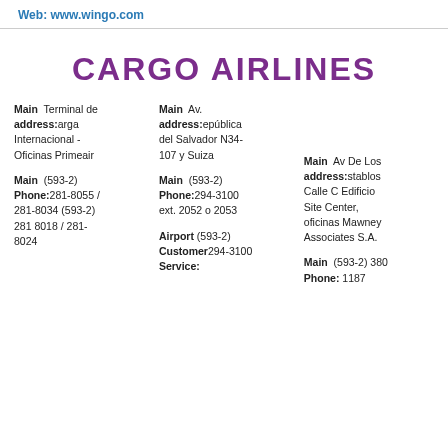Web: www.wingo.com
CARGO AIRLINES
Main address Terminal de Carga Internacional - Oficinas Primeair
Main Phone (593-2) 281-8055 / 281-8034 (593-2) 281 8018 / 281-8024
Main address Av. República del Salvador N34-107 y Suiza
Main Phone (593-2) 294-3100 ext. 2052 o 2053
Airport Customer Service: (593-2) 294-3100
Main address Av De Los Establos Calle C Edificio Site Center, oficinas Mawney Associates S.A.
Main Phone (593-2) 380 1187